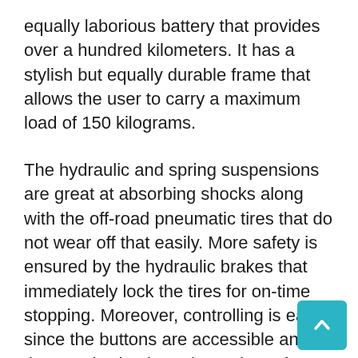equally laborious battery that provides over a hundred kilometers. It has a stylish but equally durable frame that allows the user to carry a maximum load of 150 kilograms.
The hydraulic and spring suspensions are great at absorbing shocks along with the off-road pneumatic tires that do not wear off that easily. More safety is ensured by the hydraulic brakes that immediately lock the tires for on-time stopping. Moreover, controlling is easy since the buttons are accessible and the LED is simple and prominent for convenience.
The YUME X7 Electric Scooter is an expensive vehicle that is widely available on the internet the features outweigh the price easily. No matter whether it is the design, performance, power or